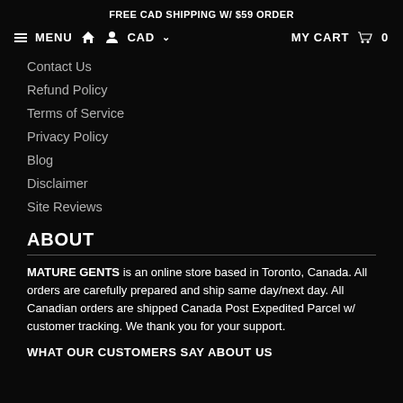FREE CAD SHIPPING W/ $59 ORDER
≡ MENU   🏠  👤  CAD ⌄       MY CART 🛒 0
Contact Us
Refund Policy
Terms of Service
Privacy Policy
Blog
Disclaimer
Site Reviews
ABOUT
MATURE GENTS is an online store based in Toronto, Canada. All orders are carefully prepared and ship same day/next day. All Canadian orders are shipped Canada Post Expedited Parcel w/ customer tracking. We thank you for your support.
WHAT OUR CUSTOMERS SAY ABOUT US